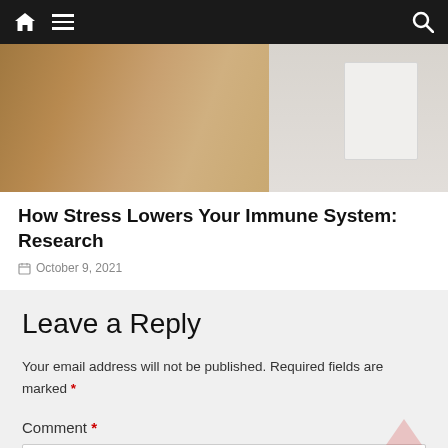Navigation bar with home, menu, and search icons
[Figure (photo): Photo of a person wrapped in a blanket with a white object (possibly a tissue box or humidifier) visible on the right side]
How Stress Lowers Your Immune System: Research
October 9, 2021
Stress Lowers Your Immune System: Stress is defined as pressure or tension exerted on a
Leave a Reply
Your email address will not be published. Required fields are marked *
Comment *